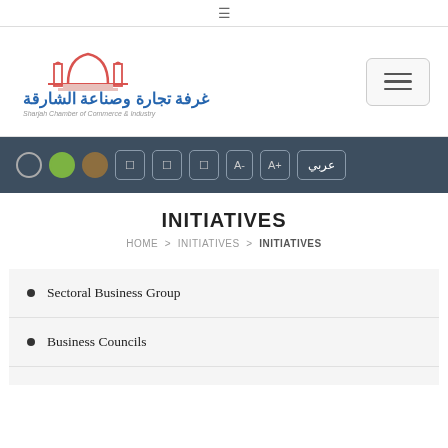[Figure (logo): Sharjah Chamber of Commerce & Industry logo with Arabic text and mosque dome illustration in red/pink and blue]
INITIATIVES
HOME > INITIATIVES > INITIATIVES
Sectoral Business Group
Business Councils